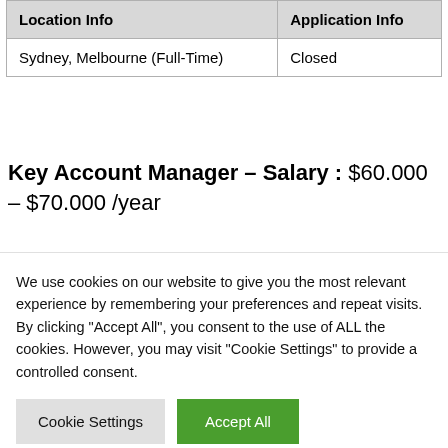| Location Info | Application Info |
| --- | --- |
| Sydney, Melbourne (Full-Time) | Closed |
Key Account Manager – Salary : $60.000 – $70.000 /year
| Location Info | Application Info |
| --- | --- |
We use cookies on our website to give you the most relevant experience by remembering your preferences and repeat visits. By clicking "Accept All", you consent to the use of ALL the cookies. However, you may visit "Cookie Settings" to provide a controlled consent.